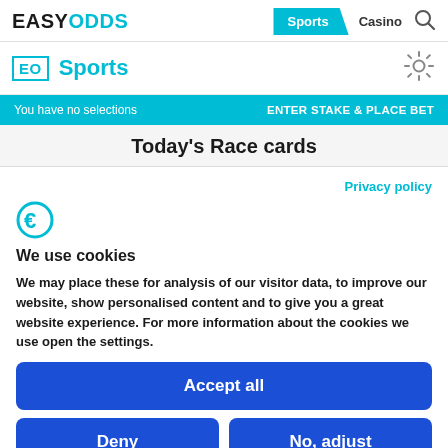EASYODDS  Sports  Casino
EO Sports
You have no selections  ENTER STAKE & PLACE BET
Today's Race cards
Privacy policy
We use cookies
We may place these for analysis of our visitor data, to improve our website, show personalised content and to give you a great website experience. For more information about the cookies we use open the settings.
Accept all
Deny
No, adjust